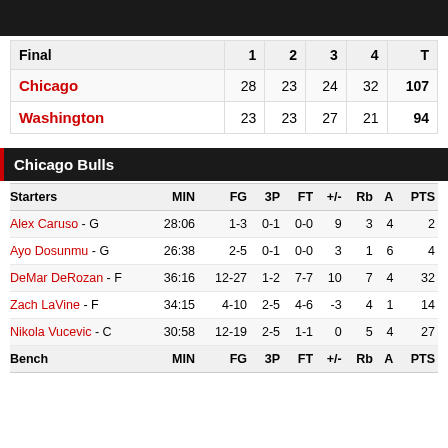| Final | 1 | 2 | 3 | 4 | T |
| --- | --- | --- | --- | --- | --- |
| Chicago | 28 | 23 | 24 | 32 | 107 |
| Washington | 23 | 23 | 27 | 21 | 94 |
Chicago Bulls
| Starters | MIN | FG | 3P | FT | +/- | Rb | A | PTS |
| --- | --- | --- | --- | --- | --- | --- | --- | --- |
| Alex Caruso - G | 28:06 | 1-3 | 0-1 | 0-0 | 9 | 3 | 4 | 2 |
| Ayo Dosunmu - G | 26:38 | 2-5 | 0-1 | 0-0 | 3 | 1 | 6 | 4 |
| DeMar DeRozan - F | 36:16 | 12-27 | 1-2 | 7-7 | 10 | 7 | 4 | 32 |
| Zach LaVine - F | 34:15 | 4-10 | 2-5 | 4-6 | -3 | 4 | 1 | 14 |
| Nikola Vucevic - C | 30:58 | 12-19 | 2-5 | 1-1 | 0 | 5 | 4 | 27 |
| Bench | MIN | FG | 3P | FT | +/- | Rb | A | PTS |